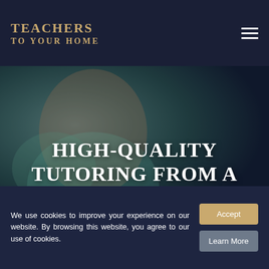TEACHERS TO YOUR HOME
[Figure (photo): Background photo of a student studying, with dark overlay. Hero image for tutoring website.]
HIGH-QUALITY TUTORING FROM A QUALIFIED TEACHER
IN HOOK
We use cookies to improve your experience on our website. By browsing this website, you agree to our use of cookies.
Accept
Learn More